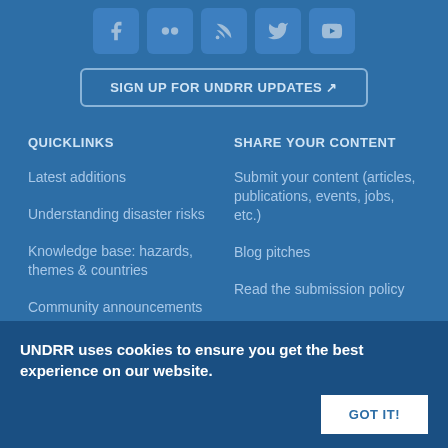[Figure (other): Social media icons: Facebook, Flickr, RSS, Twitter, YouTube]
SIGN UP FOR UNDRR UPDATES ↗
QUICKLINKS
SHARE YOUR CONTENT
Latest additions
Submit your content (articles, publications, events, jobs, etc.)
Understanding disaster risks
Blog pitches
Knowledge base: hazards, themes & countries
Read the submission policy
Community announcements
UNDRR uses cookies to ensure you get the best experience on our website.
GOT IT!